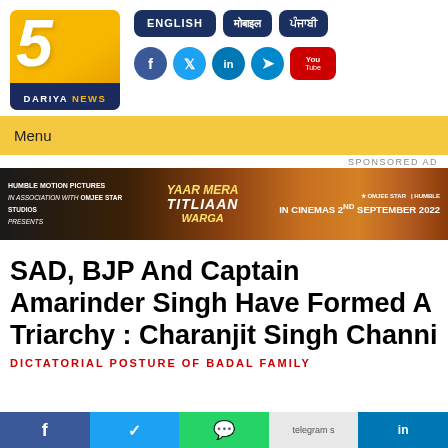[Figure (logo): 5 Dariya News logo — yellow/orange background with large italic 5, dark blue bottom bar with DARIYA NEWS text]
[Figure (infographic): Navigation buttons: ENGLISH, Punjabi (Hindi script), Punjabi (Gurmukhi script) — dark navy rounded rectangles. Social media icons: Facebook (blue), Twitter (cyan), LinkedIn (blue), Telegram (blue), YouTube (red).]
Menu
SPONSORED AD
[Figure (photo): Advertisement banner for Humble Motion Pictures in association with Omjee Star Studios presents Yaar Mera Titliaan Warga. IN CINEMAS 2ND SEPTEMBER 2022. Dark-to-orange gradient background with cartoon characters.]
SAD, BJP And Captain Amarinder Singh Have Formed A Triarchy : Charanjit Singh Channi
DICTATORIAL POSTURE OF BADAL FAMILY
[Figure (infographic): Bottom share bar with Facebook, Twitter, WhatsApp, Telegram, LinkedIn buttons]